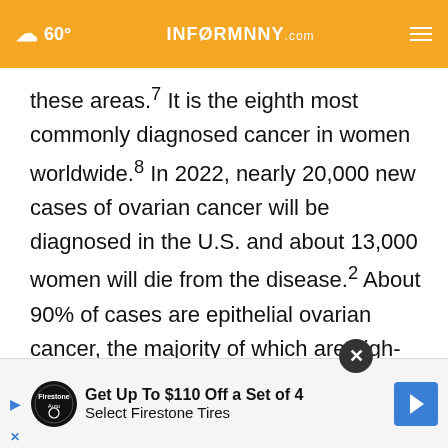60° INFORMNNY.com
these areas.7 It is the eighth most commonly diagnosed cancer in women worldwide.8 In 2022, nearly 20,000 new cases of ovarian cancer will be diagnosed in the U.S. and about 13,000 women will die from the disease.2 About 90% of cases are epithelial ovarian cancer, the majority of which are high-grade serous tumors (HGSOC), which have the fewest established risk factors and worst prognosis.2 Ovarian cancer typically presents...tial
[Figure (other): Advertisement banner: Get Up To $110 Off a Set of 4 Select Firestone Tires. Features Firestone Auto logo, play button, and blue arrow navigation icon. Close button (X) in dark circle at top right.]